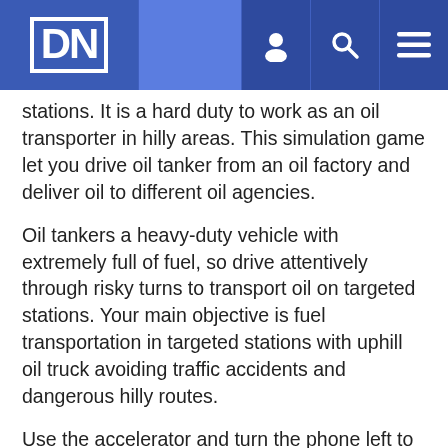DN [navigation header with user, search, and menu icons]
stations. It is a hard duty to work as an oil transporter in hilly areas. This simulation game let you drive oil tanker from an oil factory and deliver oil to different oil agencies.
Oil tankers a heavy-duty vehicle with extremely full of fuel, so drive attentively through risky turns to transport oil on targeted stations. Your main objective is fuel transportation in targeted stations with uphill oil truck avoiding traffic accidents and dangerous hilly routes.
Use the accelerator and turn the phone left to right and vice versa, similar to the movements of the steering wheel.